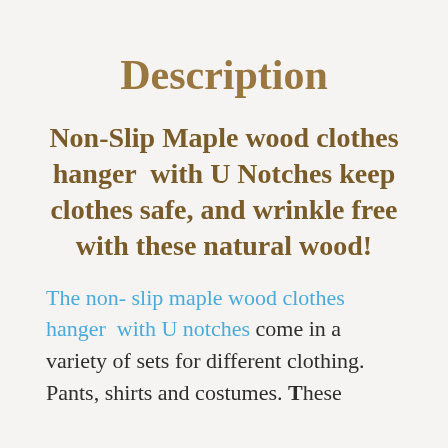Description
Non-Slip Maple wood clothes hanger  with U Notches keep clothes safe, and wrinkle free with these natural wood!
The non- slip maple wood clothes hanger  with U notches come in a variety of sets for different clothing. Pants, shirts and costumes. These